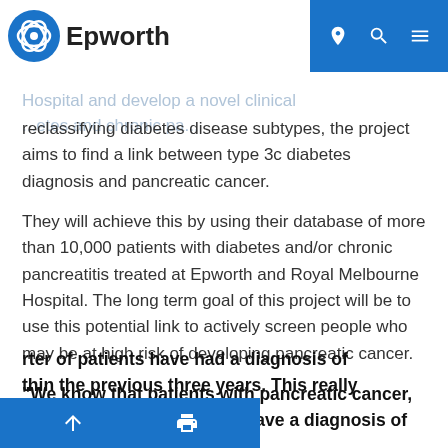Epworth
Hospital and develop a novel clinical ...etes and chronic pa... reclassifying diabetes disease subtypes, the project aims to find a link between type 3c diabetes diagnosis and pancreatic cancer.
They will achieve this by using their database of more than 10,000 patients with diabetes and/or chronic pancreatitis treated at Epworth and Royal Melbourne Hospital. The long term goal of this project will be to use this potential link to actively screen people who may be at high risk of developing pancreatic cancer.
“We know that patients with pancreatic cancer, about 50 per cent of them, have a diagnosis of diabetes. And ...rter of patients have had a diagnosis of ...thin the previous three years. This really